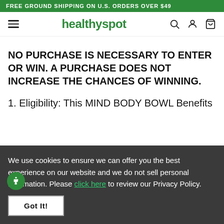FREE GROUND SHIPPING ON U.S. ORDERS OVER $49
[Figure (logo): Healthy Spot logo with hamburger menu and navigation icons (search, account, cart)]
NO PURCHASE IS NECESSARY TO ENTER OR WIN. A PURCHASE DOES NOT INCREASE THE CHANCES OF WINNING.
1. Eligibility: This MIND BODY BOWL Benefits
We use cookies to ensure we can offer you the best experience on our website and we do not sell personal information. Please click here to review our Privacy Policy.